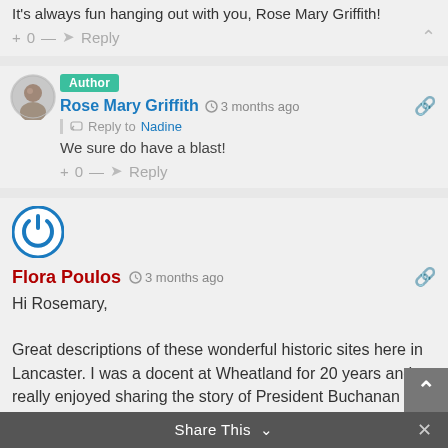It's always fun hanging out with you, Rose Mary Griffith!
+ 0 — Reply ∧
[Figure (photo): Circular avatar photo of Rose Mary Griffith, an older woman with white/grey hair]
Author
Rose Mary Griffith  3 months ago
Reply to Nadine
We sure do have a blast!
+ 0 — Reply
[Figure (logo): Blue circular power button icon avatar for Flora Poulos]
Flora Poulos  3 months ago
Hi Rosemary,

Great descriptions of these wonderful historic sites here in Lancaster. I was a docent at Wheatland for 20 years and really enjoyed sharing the story of President Buchanan and his family. It was fun wearing a hoop skirt too!

Looking forward to your next musing. They are always
Share This ∨  ×